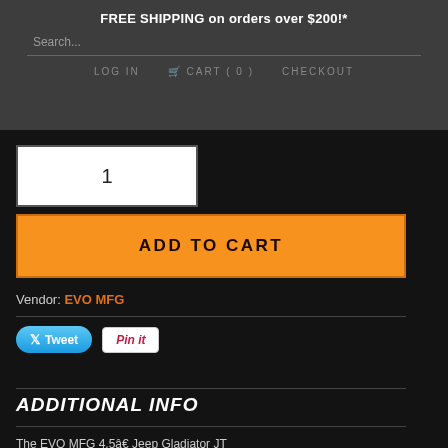FREE SHIPPING on orders over $200!*
Search...
LOG IN   CART ( 0 )   CHECKOUT
1
ADD TO CART
Vendor: EVO MFG
Tweet   Pin it
ADDITIONAL INFO
The EVO MFG 4.5â€ Jeep Gladiator JT Enforcer Suspension Systems lift your 2020+